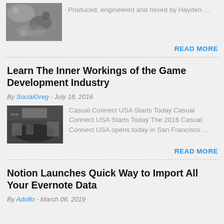[Figure (photo): Black and white thumbnail image of rocky/asteroid-like texture]
Produced, engineered and mixed by Hayden …
READ MORE
Learn The Inner Workings of the Game Development Industry
By SocialGreg - July 18, 2016
[Figure (photo): Conference hall with people gathered, ceiling lights visible, Tune sign in background]
Casual Connect USA Starts Today Casual Connect USA Starts Today The 2016 Casual Connect USA opens today in San Francisco …
READ MORE
Notion Launches Quick Way to Import All Your Evernote Data
By Adolfo - March 06, 2019